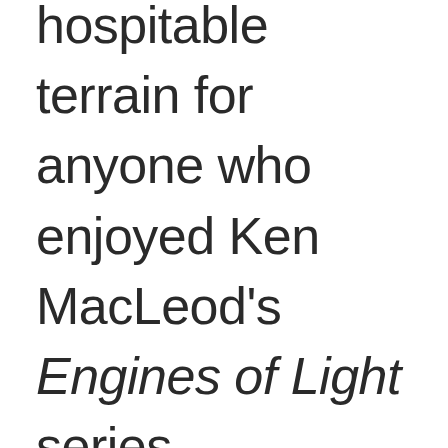hospitable terrain for anyone who enjoyed Ken MacLeod's Engines of Light series.

It's fitting that the